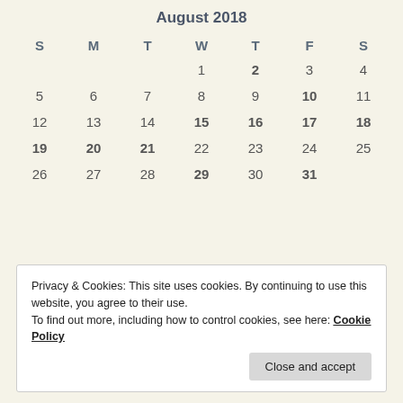August 2018
| S | M | T | W | T | F | S |
| --- | --- | --- | --- | --- | --- | --- |
|  |  |  | 1 | 2 | 3 | 4 |
| 5 | 6 | 7 | 8 | 9 | 10 | 11 |
| 12 | 13 | 14 | 15 | 16 | 17 | 18 |
| 19 | 20 | 21 | 22 | 23 | 24 | 25 |
| 26 | 27 | 28 | 29 | 30 | 31 |  |
Privacy & Cookies: This site uses cookies. By continuing to use this website, you agree to their use.
To find out more, including how to control cookies, see here: Cookie Policy